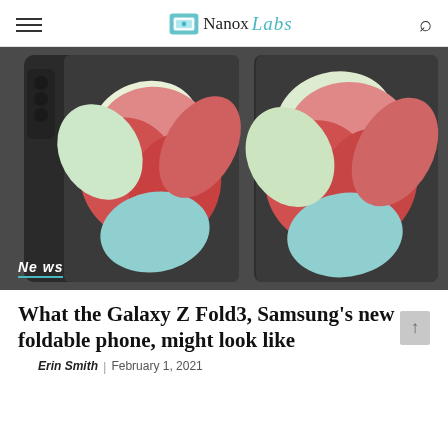Nanox Labs (logo and navigation header)
[Figure (photo): Two Samsung Galaxy Z Fold3 foldable smartphones shown side by side — one in closed position showing the outer screen with a flower wallpaper, one in open (unfolded) position showing the full inner display with a close-up flower wallpaper. A 'News' badge appears in the lower-left corner of the image.]
What the Galaxy Z Fold3, Samsung's new foldable phone, might look like
Erin Smith | February 1, 2021